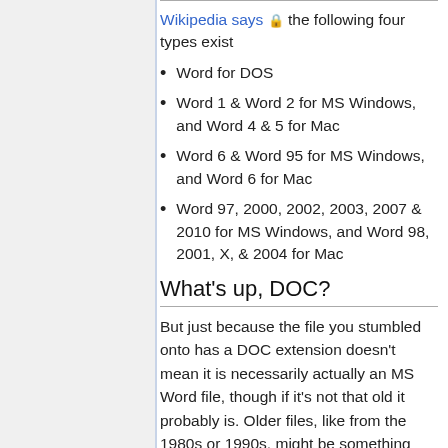Wikipedia says 🔒 the following four types exist
Word for DOS
Word 1 & Word 2 for MS Windows, and Word 4 & 5 for Mac
Word 6 & Word 95 for MS Windows, and Word 6 for Mac
Word 97, 2000, 2002, 2003, 2007 & 2010 for MS Windows, and Word 98, 2001, X, & 2004 for Mac
What's up, DOC?
But just because the file you stumbled onto has a DOC extension doesn't mean it is necessarily actually an MS Word file, though if it's not that old it probably is. Older files, like from the 1980s or 1990s, might be something else entirely. Several other word processors in that era used .DOC file extensions, even though their format was nothing like MS Word's. Also, it was fairly common for people to save plain text files